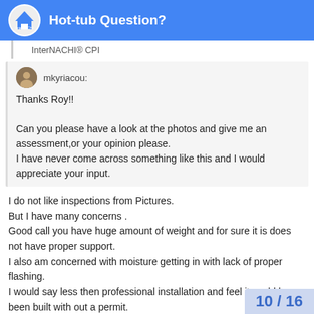Hot-tub Question?
InterNACHI® CPI
mkyriacou:
Thanks Roy!!

Can you please have a look at the photos and give me an assessment,or your opinion please.
I have never come across something like this and I would appreciate your input.
I do not like inspections from Pictures.
But I have many concerns .
Good call you have huge amount of weight and for sure it is does not have proper support.
I also am concerned with moisture getting in with lack of proper flashing.
I would say less then professional installation and feel it could have been built with out a permit.
Further evaluation by qualified Person .
10 / 16